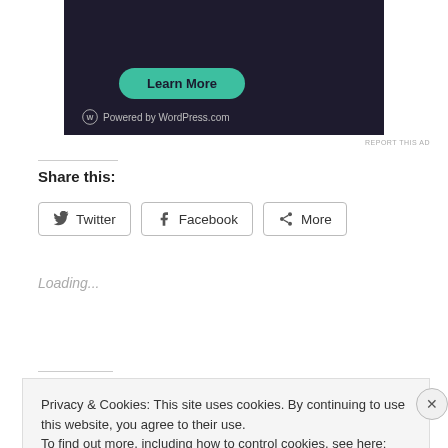[Figure (screenshot): Dark-themed WordPress.com advertisement banner with a teal 'Learn More' rounded button and WordPress logo with 'Powered by WordPress.com' text at the bottom]
REPORT THIS AD
Share this:
Twitter
Facebook
More
Loading...
Privacy & Cookies: This site uses cookies. By continuing to use this website, you agree to their use.
To find out more, including how to control cookies, see here: Cookie Policy
Close and accept